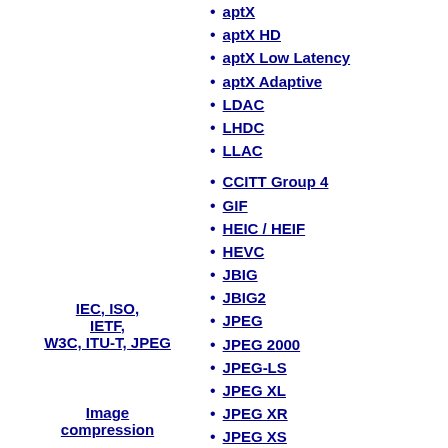aptX
aptX HD
aptX Low Latency
aptX Adaptive
LDAC
LHDC
LLAC
CCITT Group 4
GIF
HEIC / HEIF
HEVC
JBIG
JBIG2
JPEG
JPEG 2000
JPEG-LS
JPEG XL
JPEG XR
JPEG XS
JPEG XT
PNG
TIFF
TIFF/EP
TIFF/IT
IEC, ISO, IETF, W3C, ITU-T, JPEG
Image compression